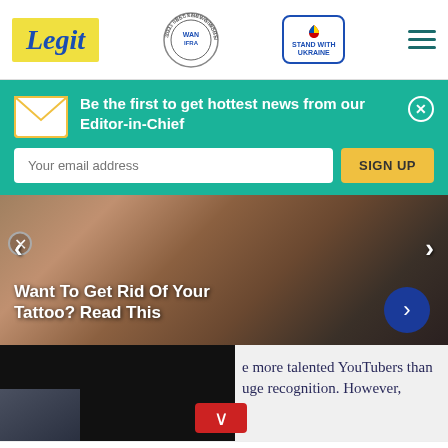Legit | WAN IFRA Best News Website in Africa 2021 | Stand with Ukraine
Be the first to get hottest news from our Editor-in-Chief
Your email address
SIGN UP
[Figure (photo): Tattoo close-up image used as slideshow background with navigation arrows and caption 'Want To Get Rid Of Your Tattoo? Read This']
Want To Get Rid Of Your Tattoo? Read This
e more talented YouTubers than uge recognition. However,
Help Protect Ukrainian Families
DONATE NOW